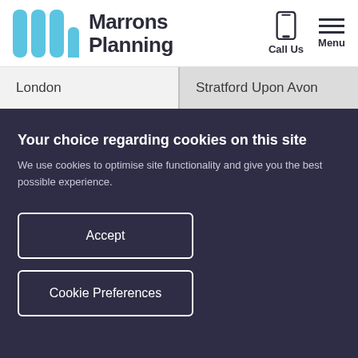Marrons Planning — Call Us | Menu
London
Stratford Upon Avon
Your choice regarding cookies on this site
We use cookies to optimise site functionality and give you the best possible experience.
Accept
Cookie Preferences